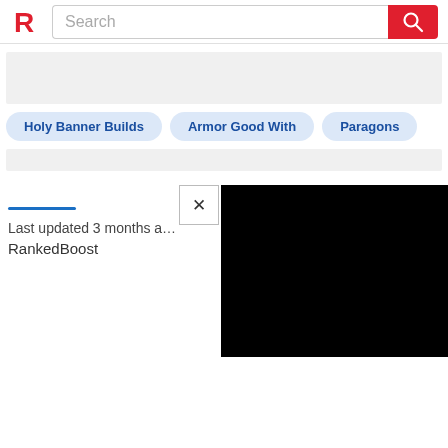RankedBoost Search
[Figure (screenshot): Gray placeholder banner area]
Holy Banner Builds
Armor Good With
Paragons
Last updated 3 months a... RankedBoost
[Figure (screenshot): Black video player overlay with X close button]